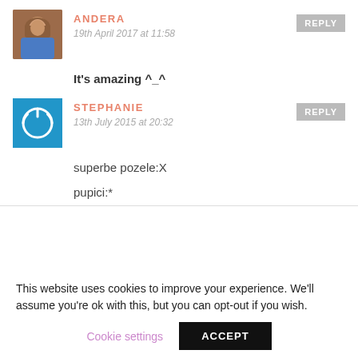[Figure (photo): Avatar photo of Andera, a woman with brown hair]
ANDERA
19th April 2017 at 11:58
REPLY
It's amazing ^_^
[Figure (logo): Blue square with white power icon for Stephanie's avatar]
STEPHANIE
13th July 2015 at 20:32
REPLY
superbe pozele:X
pupici:*
This website uses cookies to improve your experience. We'll assume you're ok with this, but you can opt-out if you wish.
Cookie settings
ACCEPT